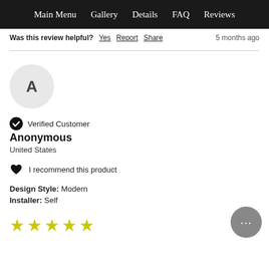Main Menu  Gallery  Details  FAQ  Reviews
Was this review helpful? Yes  Report  Share   5 months ago
[Figure (illustration): Avatar circle with letter A]
Verified Customer
Anonymous
United States
I recommend this product
Design Style: Modern
Installer: Self
[Figure (illustration): 5 yellow stars rating]